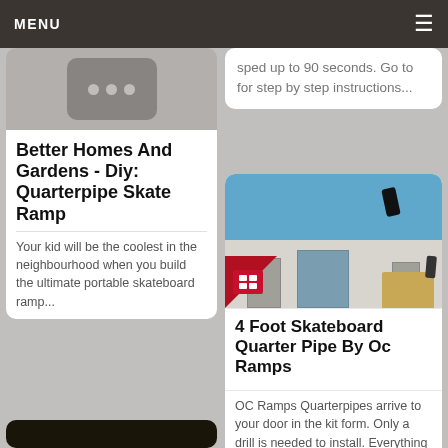MENU
[Figure (screenshot): Partial card with robot/video placeholder icon on gray background]
Better Homes And Gardens - Diy: Quarterpipe Skate Ramp
Your kid will be the coolest in the neighbourhood when you build the ultimate portable skateboard ramp...
[Figure (screenshot): Partial bottom card showing workshop/build scene with dark background]
sped up to 90 seconds. Go to for step by step instructions...
[Figure (photo): Skateboarder performing trick on quarterpipe ramp outside white industrial building with OC Ramps logo]
4 Foot Skateboard Quarter Pipe By Oc Ramps
OC Ramps Quarterpipes arrive to your door in the kit form. Only a drill is needed to install. Everything comes pre...